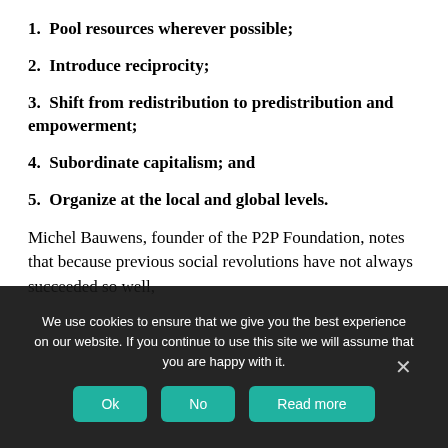1.  Pool resources wherever possible;
2.  Introduce reciprocity;
3.  Shift from redistribution to predistribution and empowerment;
4.  Subordinate capitalism; and
5.  Organize at the local and global levels.
Michel Bauwens, founder of the P2P Foundation, notes that because previous social revolutions have not always succeeded so well,
We use cookies to ensure that we give you the best experience on our website. If you continue to use this site we will assume that you are happy with it.